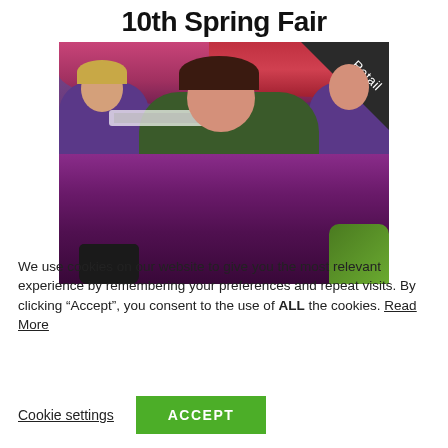10th Spring Fair
[Figure (photo): Three people in purple shirts holding large purple/magenta flowers at a flower show exhibit, with a 'Retail' ribbon in the top-right corner of the image.]
We use cookies on our website to give you the most relevant experience by remembering your preferences and repeat visits. By clicking “Accept”, you consent to the use of ALL the cookies. Read More
Cookie settings
ACCEPT